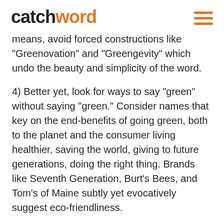catchword
means, avoid forced constructions like “Greenovation” and “Greengevity” which undo the beauty and simplicity of the word.
4) Better yet, look for ways to say “green” without saying “green.” Consider names that key on the end-benefits of going green, both to the planet and the consumer living healthier, saving the world, giving to future generations, doing the right thing. Brands like Seventh Generation, Burt’s Bees, and Tom’s of Maine subtly yet evocatively suggest eco-friendliness.
5) Whether or not you adopt a “green”